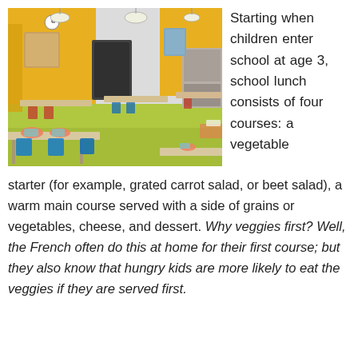[Figure (photo): A school cafeteria or classroom with tables set with plates and napkins, blue metal chairs, green floor, yellow walls, and pendant lights hanging from the ceiling.]
Starting when children enter school at age 3, school lunch consists of four courses: a vegetable starter (for example, grated carrot salad, or beet salad), a warm main course served with a side of grains or vegetables, cheese, and dessert. Why veggies first? Well, the French often do this at home for their first course; but they also know that hungry kids are more likely to eat the veggies if they are served first.